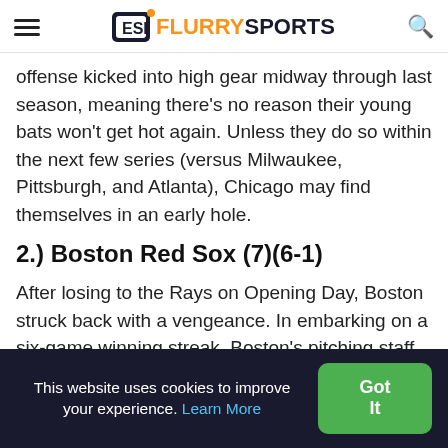FlurrySports
offense kicked into high gear midway through last season, meaning there's no reason their young bats won't get hot again. Unless they do so within the next few series (versus Milwaukee, Pittsburgh, and Atlanta), Chicago may find themselves in an early hole.
2.) Boston Red Sox (7)(6-1)
After losing to the Rays on Opening Day, Boston struck back with a vengeance. In embarking on a six-game winning streak, Boston's pitching staff
This website uses cookies to improve your experience. Learn More